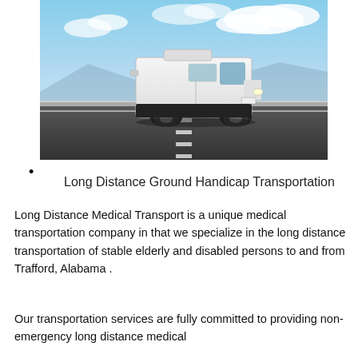[Figure (photo): A white cargo van driving on a highway under a partly cloudy blue sky with mountains in the background.]
Long Distance Ground Handicap Transportation
Long Distance Medical Transport is a unique medical transportation company in that we specialize in the long distance transportation of stable elderly and disabled persons to and from Trafford, Alabama .
Our transportation services are fully committed to providing non-emergency long distance medical